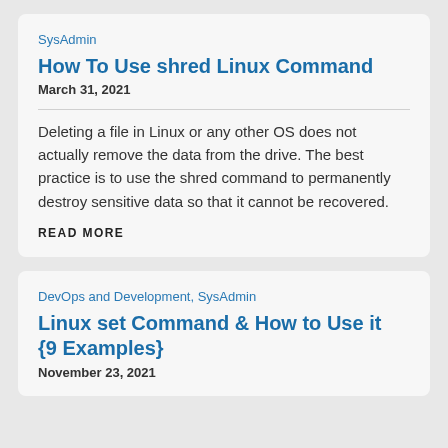SysAdmin
How To Use shred Linux Command
March 31, 2021
Deleting a file in Linux or any other OS does not actually remove the data from the drive. The best practice is to use the shred command to permanently destroy sensitive data so that it cannot be recovered.
READ MORE
DevOps and Development, SysAdmin
Linux set Command & How to Use it {9 Examples}
November 23, 2021